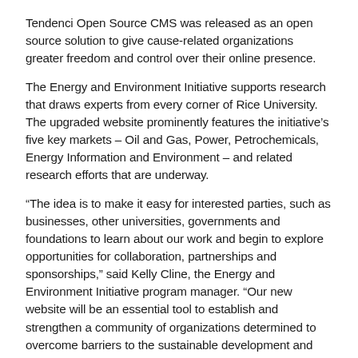Tendenci Open Source CMS was released as an open source solution to give cause-related organizations greater freedom and control over their online presence.
The Energy and Environment Initiative supports research that draws experts from every corner of Rice University. The upgraded website prominently features the initiative's five key markets – Oil and Gas, Power, Petrochemicals, Energy Information and Environment – and related research efforts that are underway.
“The idea is to make it easy for interested parties, such as businesses, other universities, governments and foundations to learn about our work and begin to explore opportunities for collaboration, partnerships and sponsorships,” said Kelly Cline, the Energy and Environment Initiative program manager. “Our new website will be an essential tool to establish and strengthen a community of organizations determined to overcome barriers to the sustainable development and use of current and alternative forms of energy.”